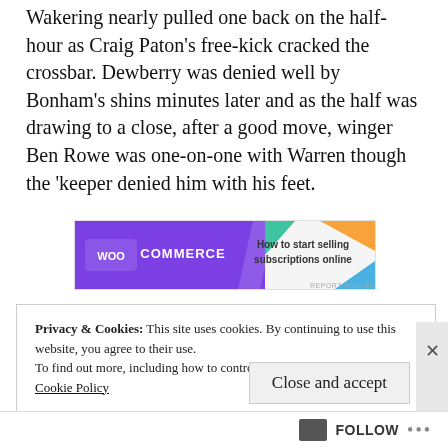Wakering nearly pulled one back on the half-hour as Craig Paton's free-kick cracked the crossbar. Dewberry was denied well by Bonham's shins minutes later and as the half was drawing to a close, after a good move, winger Ben Rowe was one-on-one with Warren though the 'keeper denied him with his feet.
[Figure (other): WooCommerce advertisement banner: 'How to start selling subscriptions online']
Privacy & Cookies: This site uses cookies. By continuing to use this website, you agree to their use.
To find out more, including how to control cookies, see here: Cookie Policy
Close and accept
FOLLOW ...